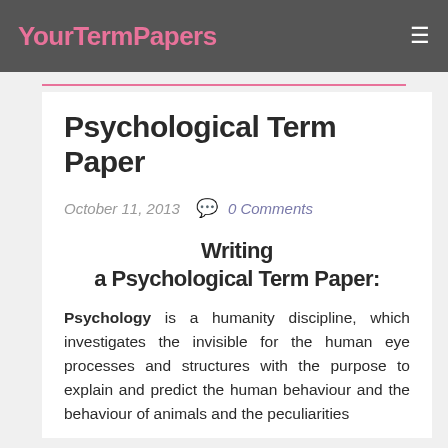YourTermPapers
Psychological Term Paper
October 11, 2013   0 Comments
Writing a Psychological Term Paper:
Psychology is a humanity discipline, which investigates the invisible for the human eye processes and structures with the purpose to explain and predict the human behaviour and the behaviour of animals and the peculiarities